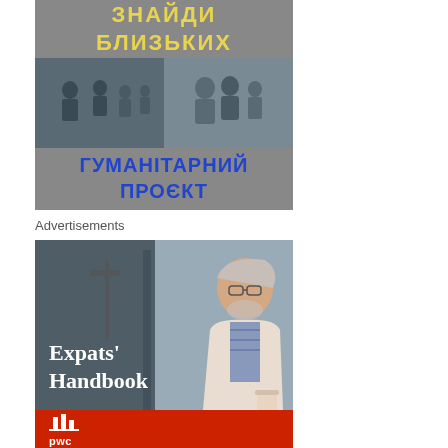[Figure (illustration): Ukrainian humanitarian project poster with yellow Cyrillic text 'ЗНАЙДИ БЛИЗЬКИХ' at top on grey background, photo strip of refugees/people in middle, and blue Cyrillic text 'ГУМАНІТАРНИЙ ПРОЄКТ' at bottom]
Advertisements
[Figure (illustration): PwC Expats' Handbook advertisement showing an older man with glasses sitting outdoors with a coffee cup, dark overlay on left side with white text 'Expats' Handbook', red bar at bottom with PwC logo]